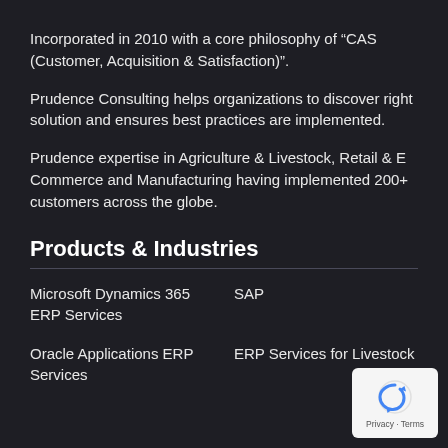Incorporated in 2010 with a core philosophy of “CAS (Customer, Acquisition & Satisfaction)”.
Prudence Consulting helps organizations to discover right solution and ensures best practices are implemented.
Prudence expertise in Agriculture & Livestock, Retail & E Commerce and Manufacturing having implemented 200+ customers across the globe.
Products & Industries
Microsoft Dynamics 365 ERP Services
SAP
Oracle Applications ERP Services
ERP Services for Livestock